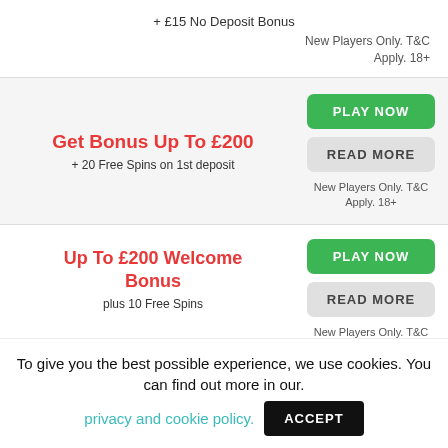+ £15 No Deposit Bonus
New Players Only. T&C Apply. 18+
Get Bonus Up To £200
+ 20 Free Spins on 1st deposit
PLAY NOW
READ MORE
New Players Only. T&C Apply. 18+
Up To £200 Welcome Bonus
plus 10 Free Spins
PLAY NOW
READ MORE
New Players Only. T&C Apply. 18+
To give you the best possible experience, we use cookies. You can find out more in our. privacy and cookie policy. ACCEPT